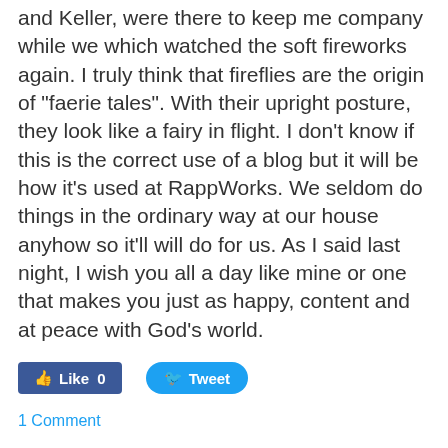and Keller, were there to keep me company while we which watched the soft fireworks again.  I truly think that fireflies are the origin of "faerie tales".  With their upright posture, they look like a fairy in flight.  I don't know if this is the correct use of a blog but it will be how it's used at RappWorks.  We seldom do things in the ordinary way at our house anyhow so it'll will do for us.  As I said last night, I wish you all a day like mine or one that makes you just as happy, content and at peace with God's world.
[Figure (other): Social sharing buttons: Facebook Like (0) and Twitter Tweet]
1 Comment
Rapp
Soulmates for over 40 years & we still get along!
Archives